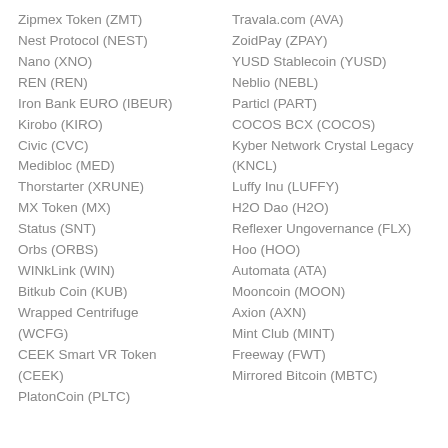Zipmex Token (ZMT)
Nest Protocol (NEST)
Nano (XNO)
REN (REN)
Iron Bank EURO (IBEUR)
Kirobo (KIRO)
Civic (CVC)
Medibloc (MED)
Thorstarter (XRUNE)
MX Token (MX)
Status (SNT)
Orbs (ORBS)
WINkLink (WIN)
Bitkub Coin (KUB)
Wrapped Centrifuge (WCFG)
CEEK Smart VR Token (CEEK)
PlatonCoin (PLTC)
Travala.com (AVA)
ZoidPay (ZPAY)
YUSD Stablecoin (YUSD)
Neblio (NEBL)
Particl (PART)
COCOS BCX (COCOS)
Kyber Network Crystal Legacy (KNCL)
Luffy Inu (LUFFY)
H2O Dao (H2O)
Reflexer Ungovernance (FLX)
Hoo (HOO)
Automata (ATA)
Mooncoin (MOON)
Axion (AXN)
Mint Club (MINT)
Freeway (FWT)
Mirrored Bitcoin (MBTC)